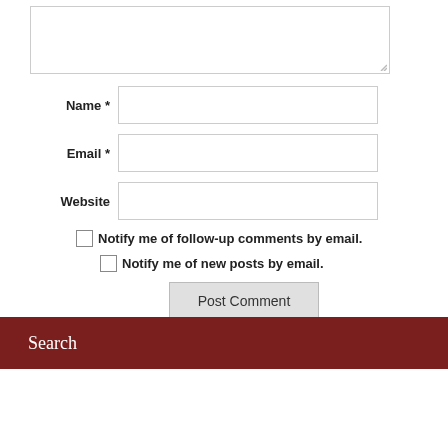[Comment textarea]
Name *
Email *
Website
Notify me of follow-up comments by email.
Notify me of new posts by email.
Post Comment
This site uses Akismet to reduce spam. Learn how your comment data is processed.
Search